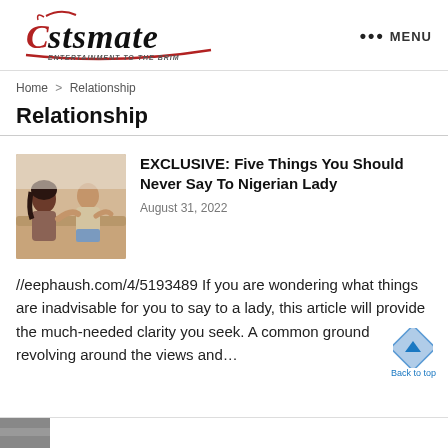[Figure (logo): Castsmate - Entertainment to the Brim logo with decorative script font]
Home > Relationship
Relationship
[Figure (photo): Two people (man and woman) sitting on a couch appearing to have a serious conversation or argument]
EXCLUSIVE: Five Things You Should Never Say To Nigerian Lady
August 31, 2022
//eephaush.com/4/5193489 If you are wondering what things are inadvisable for you to say to a lady, this article will provide the much-needed clarity you seek. A common ground revolving around the views and…